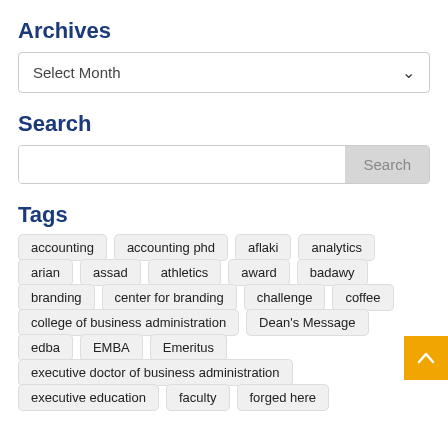Archives
Select Month
Search
Search
Tags
accounting
accounting phd
aflaki
analytics
arian
assad
athletics
award
badawy
branding
center for branding
challenge
coffee
college of business administration
Dean's Message
edba
EMBA
Emeritus
executive doctor of business administration
executive education
faculty
forged here